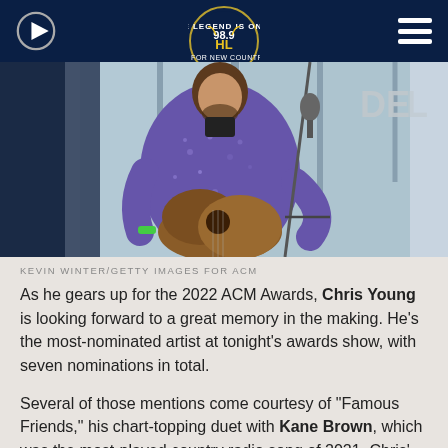98.9 The Bull - #1 For New Country
[Figure (photo): Man in a purple floral shirt playing an acoustic guitar on stage with a microphone stand, with windows visible in the background and a partial 'DEL' sign.]
KEVIN WINTER/GETTY IMAGES FOR ACM
As he gears up for the 2022 ACM Awards, Chris Young is looking forward to a great memory in the making. He's the most-nominated artist at tonight's awards show, with seven nominations in total.
Several of those mentions come courtesy of "Famous Friends," his chart-topping duet with Kane Brown, which was the most-played country radio song of 2021. Chris' nods are spread over four categories